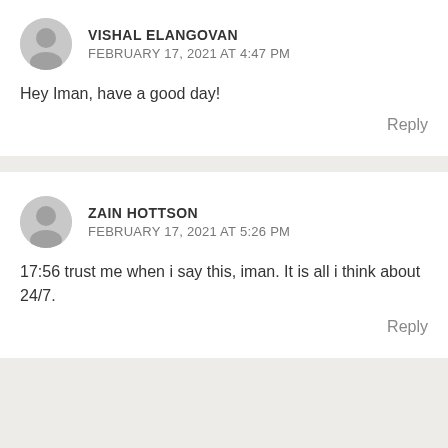VISHAL ELANGOVAN
FEBRUARY 17, 2021 AT 4:47 PM
Hey Iman, have a good day!
Reply
ZAIN HOTTSON
FEBRUARY 17, 2021 AT 5:26 PM
17:56 trust me when i say this, iman. It is all i think about 24/7.
Reply